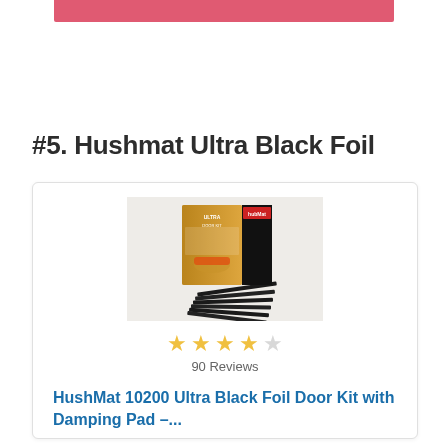[Figure (other): Pink/salmon colored decorative bar at top of page]
#5. Hushmat Ultra Black Foil
[Figure (photo): Product photo of HushMat Ultra Black Foil Door Kit showing packaging box and black foil sheets fanned out]
★★★★☆ 90 Reviews
HushMat 10200 Ultra Black Foil Door Kit with Damping Pad –...